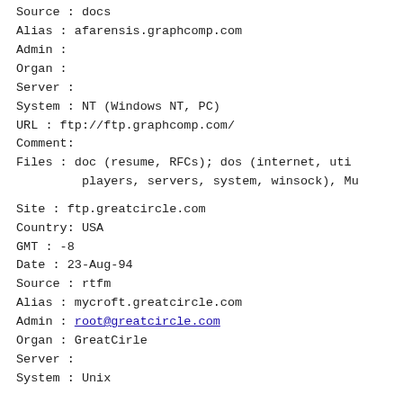Source : docs
Alias  : afarensis.graphcomp.com
Admin  :
Organ  :
Server :
System : NT (Windows NT, PC)
URL    : ftp://ftp.graphcomp.com/
Comment:
Files  : doc (resume, RFCs); dos (internet, uti
         players, servers, system, winsock), Mu
Site   : ftp.greatcircle.com
Country: USA
GMT    : -8
Date   : 23-Aug-94
Source : rtfm
Alias  : mycroft.greatcircle.com
Admin  : root@greatcircle.com
Organ  : GreatCirle
Server :
System : Unix